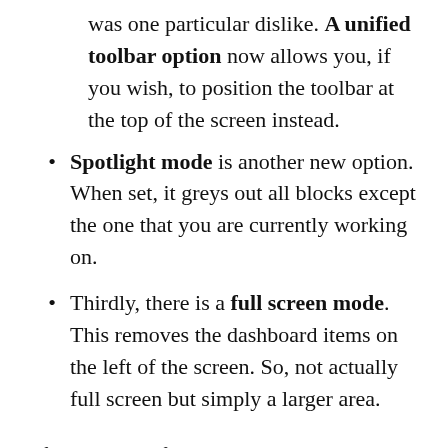was one particular dislike. A unified toolbar option now allows you, if you wish, to position the toolbar at the top of the screen instead.
Spotlight mode is another new option. When set, it greys out all blocks except the one that you are currently working on.
Thirdly, there is a full screen mode. This removes the dashboard items on the left of the screen. So, not actually full screen but simply a larger area.
I feel sure that further changes are likely in this area, and indeed to the general user interface